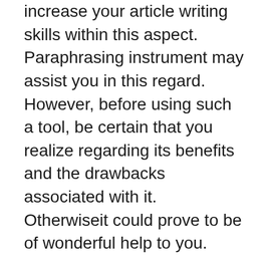increase your article writing skills within this aspect. Paraphrasing instrument may assist you in this regard. However, before using such a tool, be certain that you realize regarding its benefits and the drawbacks associated with it. Otherwiseit could prove to be of wonderful help to you.
Paraphrasing software could be really beneficial if you're working on Article Composing of course, in the event that you'd like to enhance your essay writing abilities in this aspect. Paraphrasing Tool can help you in this regard. However, prior to using such a instrument, be certain that you understand about its benefits and also the drawbacks associated with it. Otherwise it might end up being of wonderful help for your